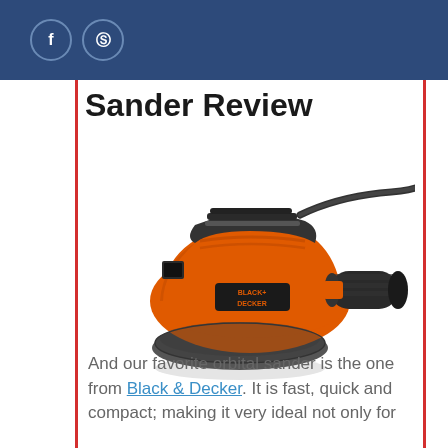f  [pinterest icon]
Sander Review
[Figure (photo): BLACK+DECKER orbital sander, orange and black, with side handle, viewed from above at an angle]
And our favorite orbital sander is the one from Black & Decker. It is fast, quick and compact; making it very ideal not only for